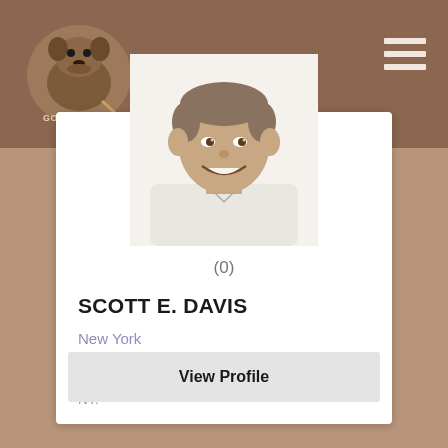[Figure (logo): Golf Corner mascot logo - bulldog with golf club, brown/tan colors]
[Figure (photo): Headshot photo of Scott E. Davis, a man in a white polo shirt, smiling, against white background]
(0)
SCOTT E. DAVIS
New York
Scott Davis is a PGA Professional in New York, NY.
View Profile